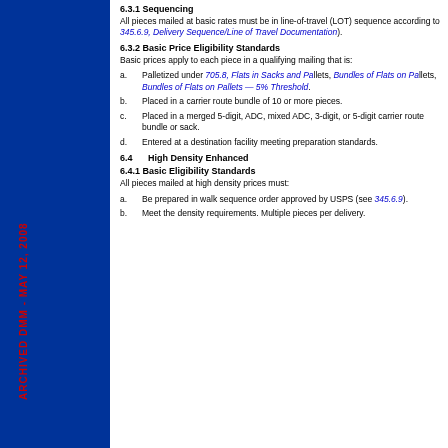ARCHIVED DMM - MAY 12, 2008
6.3.1 Sequencing
All pieces mailed at basic rates must be in line-of-travel (LOT) sequence according to 345.6.9, Delivery Sequence/Line of Travel Documentation).
6.3.2 Basic Price Eligibility Standards
Basic prices apply to each piece in a qualifying mailing that is:
a. Palletized under 705.8, Flats in Sacks and Pallets, Bundles of Flats on Pallets, Bundles of Flats on Pallets — 5% Threshold.
b. Placed in a carrier route bundle of 10 or more pieces.
c. Placed in a merged 5-digit, 3-digit, ADC, or mixed ADC, or 5-digit carrier route bundle or sack.
d. Entered at a destination facility meeting preparation standards.
6.4 High Density Enhanced Carrier Route Prices
6.4.1 Basic Eligibility Standards
All pieces mailed at high density prices must:
a. Be prepared in walk sequence order approved by USPS (see 345.6.9).
b. Meet the density requirements. Multiple pieces per delivery.